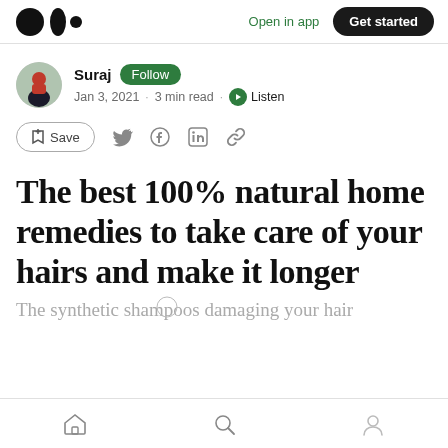Medium logo | Open in app | Get started
Suraj · Follow · Jan 3, 2021 · 3 min read · Listen
Save (bookmark icon) · Twitter · Facebook · LinkedIn · Link
The best 100% natural home remedies to take care of your hairs and make it longer
The synthetic shampoos is damaging your hair
Home · Search · Profile (bottom navigation)